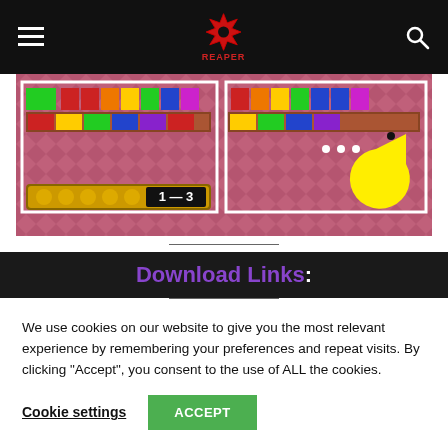≡  REAPER  🔍
[Figure (screenshot): Game screenshot showing a colorful Pac-Man style game with pink background, colored blocks/tiles, score display showing 1-3, and Pac-Man character on the right side]
Download Links:
We use cookies on our website to give you the most relevant experience by remembering your preferences and repeat visits. By clicking "Accept", you consent to the use of ALL the cookies.
Cookie settings   ACCEPT